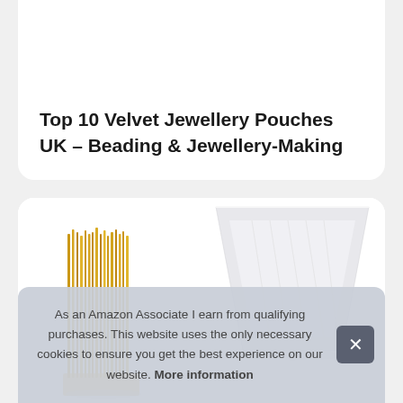Top 10 Velvet Jewellery Pouches UK – Beading & Jewellery-Making
[Figure (photo): Product photo showing gold metallic wire twist ties on the left and a white ceramic bowl on the right, against a white background.]
As an Amazon Associate I earn from qualifying purchases. This website uses the only necessary cookies to ensure you get the best experience on our website. More information